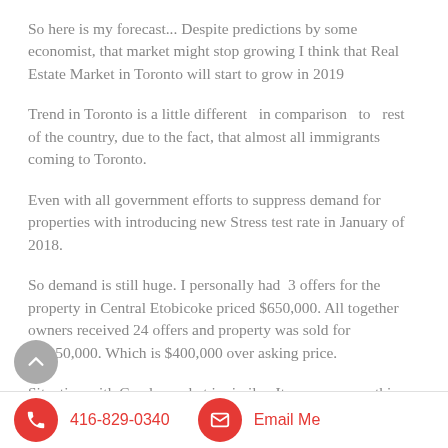So here is my forecast... Despite predictions by some economist, that market might stop growing I think that Real Estate Market in Toronto will start to grow in 2019
Trend in Toronto is a little different  in comparison  to  rest of the country, due to the fact, that almost all immigrants coming to Toronto.
Even with all government efforts to suppress demand for properties with introducing new Stress test rate in January of 2018.
So demand is still huge. I personally had  3 offers for the property in Central Etobicoke priced $650,000. All together owners received 24 offers and property was sold for $1,050,000. Which is $400,000 over asking price.
Situation with Condo market is similar. It was common this
416-829-0340   Email Me